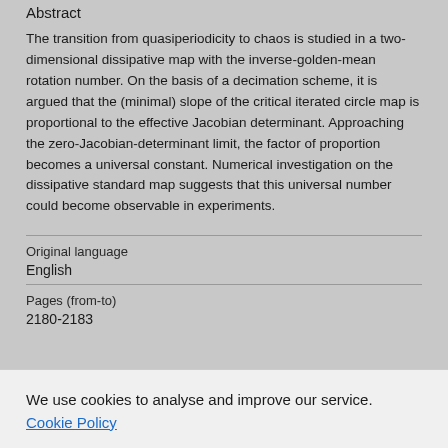Abstract
The transition from quasiperiodicity to chaos is studied in a two-dimensional dissipative map with the inverse-golden-mean rotation number. On the basis of a decimation scheme, it is argued that the (minimal) slope of the critical iterated circle map is proportional to the effective Jacobian determinant. Approaching the zero-Jacobian-determinant limit, the factor of proportion becomes a universal constant. Numerical investigation on the dissipative standard map suggests that this universal number could become observable in experiments.
Original language
English
Pages (from-to)
2180-2183
We use cookies to analyse and improve our service. Cookie Policy